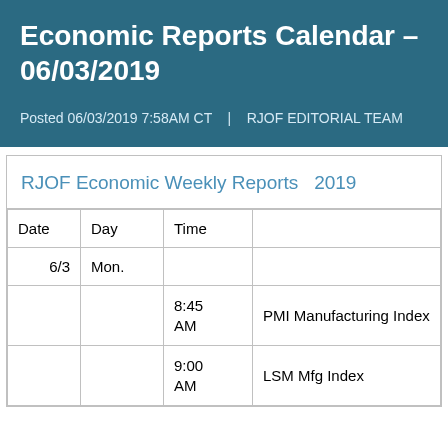Economic Reports Calendar – 06/03/2019
Posted 06/03/2019 7:58AM CT  |  RJOF EDITORIAL TEAM
RJOF Economic Weekly Reports  2019
| Date | Day | Time |  |
| --- | --- | --- | --- |
| 6/3 | Mon. |  |  |
|  |  | 8:45 AM | PMI Manufacturing Index |
|  |  | 9:00 AM | LSM Mfg Index |